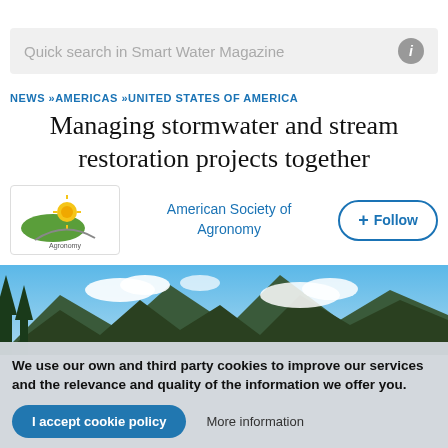Quick search in Smart Water Magazine
NEWS »AMERICAS »UNITED STATES OF AMERICA
Managing stormwater and stream restoration projects together
[Figure (logo): American Society of Agronomy logo with green/yellow plant graphic and text 'Agronomy']
American Society of Agronomy
+ Follow
[Figure (photo): Mountain landscape with blue sky, white clouds, pine trees on left, and mountains in background]
We use our own and third party cookies to improve our services and the relevance and quality of the information we offer you.
I accept cookie policy
More information